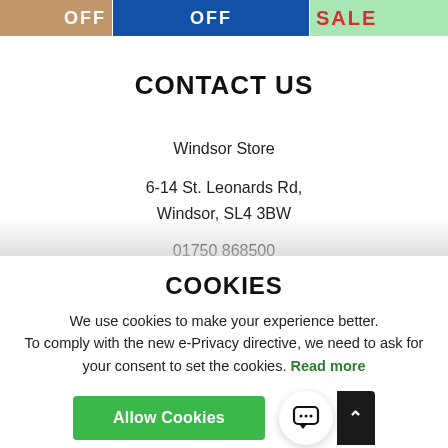[Figure (screenshot): Banner strip showing sale/off promotional images: tan background with OFF text, blue background with OFF text, green background with SALE text in red]
CONTACT US
Windsor Store
6-14 St. Leonards Rd,
Windsor, SL4 3BW
01750 868500 (partially obscured)
COOKIES
We use cookies to make your experience better. To comply with the new e-Privacy directive, we need to ask for your consent to set the cookies. Read more
[Figure (screenshot): Allow Cookies green button and chat icon circle button with scroll-up arrow]